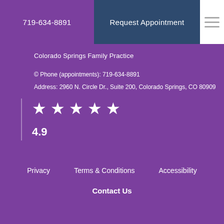719-634-8891
Request Appointment
Colorado Springs Family Practice
© Phone (appointments): 719-634-8891
Address: 2960 N. Circle Dr., Suite 200, Colorado Springs, CO 80909
[Figure (other): 5-star rating with 5 white stars displayed]
4.9
Privacy
Terms & Conditions
Accessibility
Contact Us